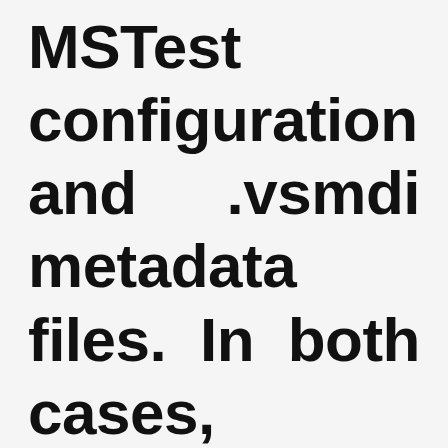MSTest configuration and .vsmdi metadata files. In both cases, TeamCity 4.0 does not fail a project build when